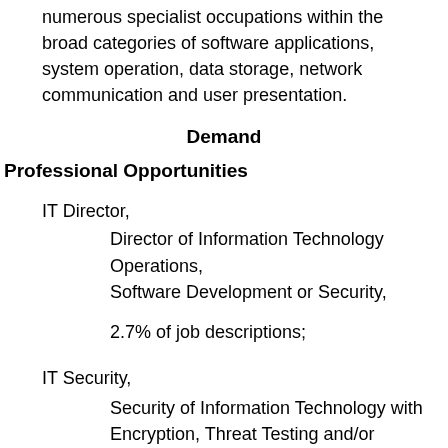numerous specialist occupations within the broad categories of software applications, system operation, data storage, network communication and user presentation.
Demand
Professional Opportunities
IT Director,
Director of Information Technology Operations, Software Development or Security,
2.7% of job descriptions;
IT Security,
Security of Information Technology with Encryption, Threat Testing and/or Readiness